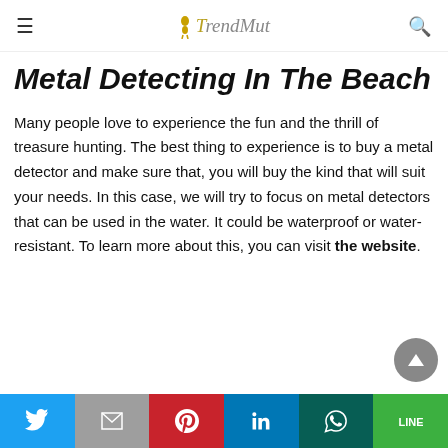TrendMut
Metal Detecting In The Beach
Many people love to experience the fun and the thrill of treasure hunting. The best thing to experience is to buy a metal detector and make sure that, you will buy the kind that will suit your needs. In this case, we will try to focus on metal detectors that can be used in the water. It could be waterproof or water-resistant. To learn more about this, you can visit the website.